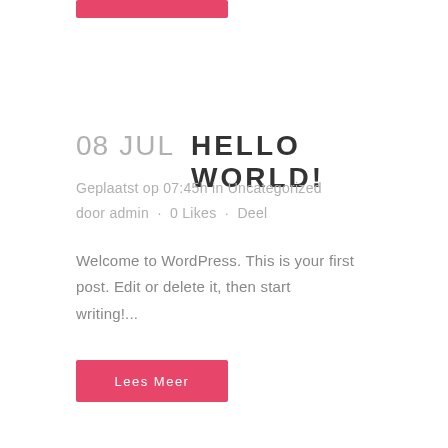[Figure (other): Pink/red rectangular button at top of page (partial, cropped)]
08 JUL HELLO WORLD!
Geplaatst op 07:45h in Uncategorized door admin · 0 Likes · Deel
Welcome to WordPress. This is your first post. Edit or delete it, then start writing!...
[Figure (other): Pink/red 'Lees Meer' button]